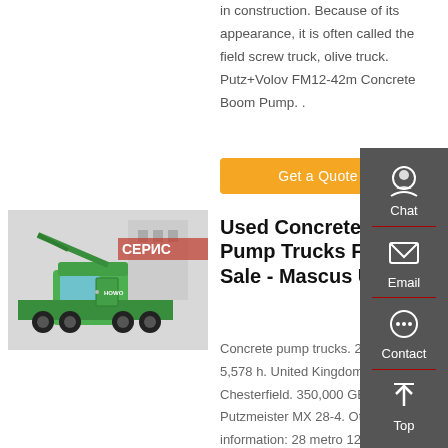in construction. Because of its appearance, it is often called the field screw truck, olive truck. Putz+Volov FM12-42m Concrete Boom Pump. .
Get a Quote
[Figure (photo): Green concrete pump truck parked outdoors]
Used Concrete Pump Trucks For Sale - Mascus UK
Concrete pump trucks. 20... 5,578 h. United Kingdom, Chesterfield. 350,000 GBP. Putzmeister MX 28-4. Other information: 28 metro 125mm 5"